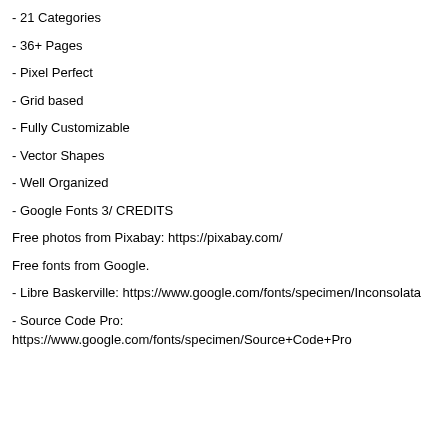- 21 Categories
- 36+ Pages
- Pixel Perfect
- Grid based
- Fully Customizable
- Vector Shapes
- Well Organized
- Google Fonts 3/ CREDITS
Free photos from Pixabay: https://pixabay.com/
Free fonts from Google.
- Libre Baskerville: https://www.google.com/fonts/specimen/Inconsolata
- Source Code Pro: https://www.google.com/fonts/specimen/Source+Code+Pro